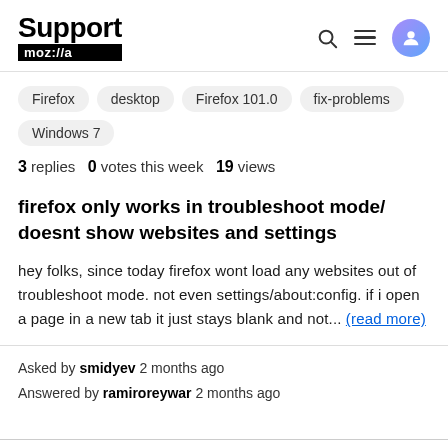Support moz://a
Firefox
desktop
Firefox 101.0
fix-problems
Windows 7
3 replies  0 votes this week  19 views
firefox only works in troubleshoot mode/ doesnt show websites and settings
hey folks, since today firefox wont load any websites out of troubleshoot mode. not even settings/about:config. if i open a page in a new tab it just stays blank and not... (read more)
Asked by smidyev 2 months ago
Answered by ramiroreywar 2 months ago